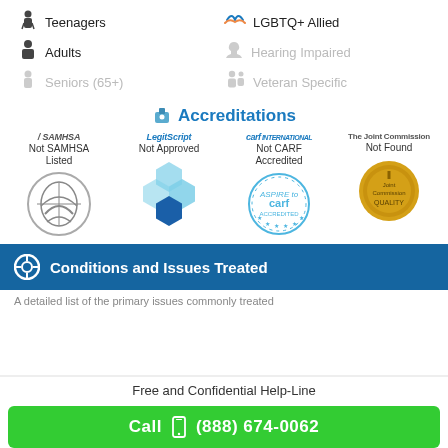Teenagers
LGBTQ+ Allied
Adults
Hearing Impaired
Seniors (65+)
Veteran Specific
Accreditations
| SAMHSA | LegitScript | CARF International | The Joint Commission |
| --- | --- | --- | --- |
| Not SAMHSA Listed | Not Approved | Not CARF Accredited | Not Found |
Conditions and Issues Treated
A detailed list of the primary issues commonly treated
Free and Confidential Help-Line
Call (888) 674-0062